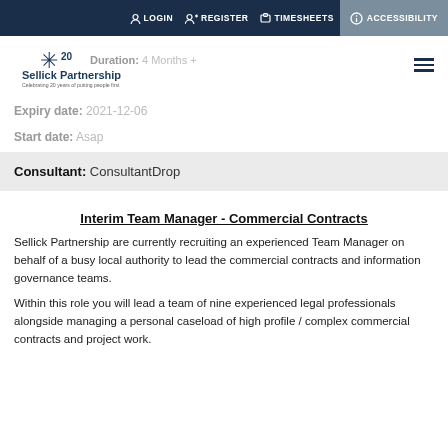LOGIN  REGISTER  TIMESHEETS  ACCESSIBILITY
[Figure (logo): Sellick Partnership logo with 20th anniversary star, tagline: Celebrating 20 years of putting people first]
Duration: 4 Months +
Expiry date: 2021-12-06
Start date: Asap
Consultant: ConsultantDrop
Interim Team Manager - Commercial Contracts
Sellick Partnership are currently recruiting an experienced Team Manager on behalf of a busy local authority to lead the commercial contracts and information governance teams.
Within this role you will lead a team of nine experienced legal professionals alongside managing a personal caseload of high profile / complex commercial contracts and project work.